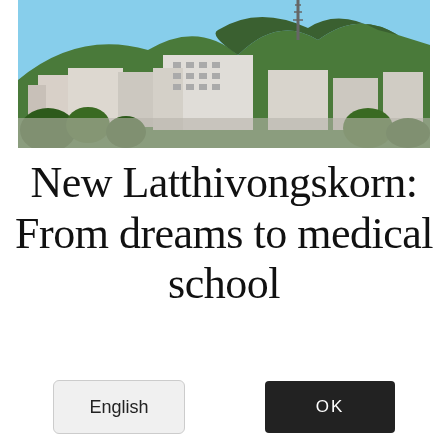[Figure (photo): Aerial/panoramic photo of a city and hillside with buildings and a green forested hill in the background, under a clear blue sky. A communications tower is visible on the hilltop.]
New Latthivongskorn: From dreams to medical school
By using this website, you agree to the use of cookies as described in our Privacy Policy.